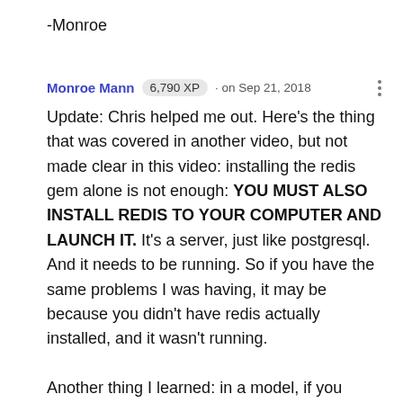-Monroe
Monroe Mann  6,790 XP  · on Sep 21, 2018
Update: Chris helped me out. Here's the thing that was covered in another video, but not made clear in this video: installing the redis gem alone is not enough: YOU MUST ALSO INSTALL REDIS TO YOUR COMPUTER AND LAUNCH IT. It's a server, just like postgresql. And it needs to be running. So if you have the same problems I was having, it may be because you didn't have redis actually installed, and it wasn't running.
Another thing I learned: in a model, if you